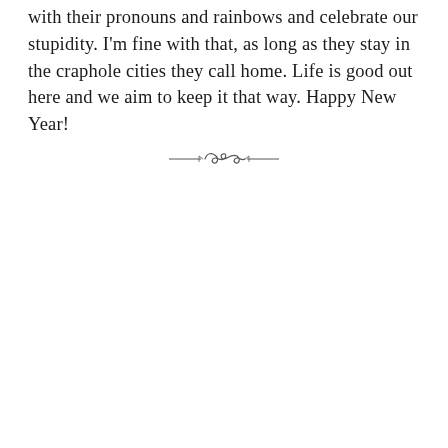with their pronouns and rainbows and celebrate our stupidity. I'm fine with that, as long as they stay in the craphole cities they call home. Life is good out here and we aim to keep it that way. Happy New Year!
[Figure (illustration): Decorative ornamental divider with two horizontal lines flanking a cursive swirl motif in the center]